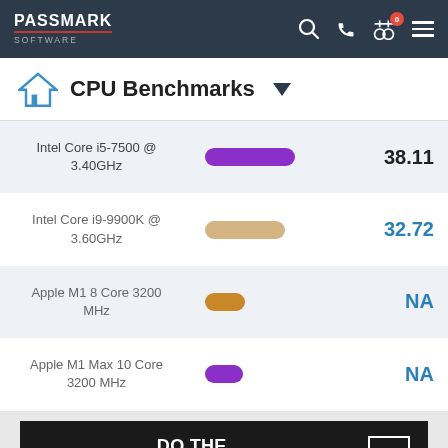PassMark Software
CPU Benchmarks
| CPU | Bar | Score |
| --- | --- | --- |
| Intel Core i5-7500 @ 3.40GHz | [bar] | 38.11 |
| Intel Core i9-9900K @ 3.60GHz | [bar] | 32.72 |
| Apple M1 8 Core 3200 MHz | [bar] | NA |
| Apple M1 Max 10 Core 3200 MHz | [bar] | NA |
[Figure (other): Peraton advertisement banner: DO THE CAN'T BE DONE.]